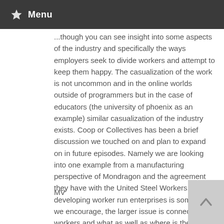Menu
...though you can see insight into some aspects of the industry and specifically the ways employers seek to divide workers and attempt to keep them happy. The casualization of the work is not uncommon and in the online worlds outside of programmers but in the case of educators (the university of phoenix as an example) similar casualization of the industry exists. Coop or Collectives has been a brief discussion we touched on and plan to expand on in future episodes. Namely we are looking into one example from a manufacturing perspective of Mondragon and the agreement they have with the United Steel Workers. But developing worker run enterprises is something we encourage, the larger issue is connecting the workers and what as well as where is the collective are important issues to reolve. Please keep up with the feedback…I did send an email to the head of the US IWW tech contact but had not heard back.
MV